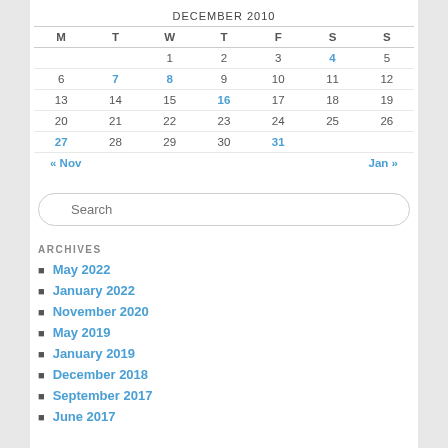DECEMBER 2010
| M | T | W | T | F | S | S |
| --- | --- | --- | --- | --- | --- | --- |
|  |  | 1 | 2 | 3 | 4 | 5 |
| 6 | 7 | 8 | 9 | 10 | 11 | 12 |
| 13 | 14 | 15 | 16 | 17 | 18 | 19 |
| 20 | 21 | 22 | 23 | 24 | 25 | 26 |
| 27 | 28 | 29 | 30 | 31 |  |  |
« Nov    Jan »
Search
ARCHIVES
May 2022
January 2022
November 2020
May 2019
January 2019
December 2018
September 2017
June 2017